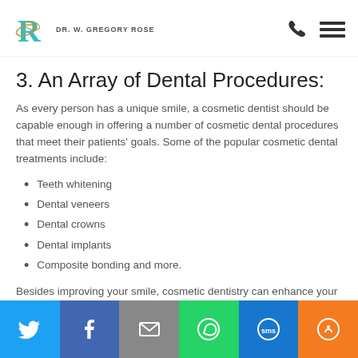Dr. W. Gregory Rose
3. An Array of Dental Procedures:
As every person has a unique smile, a cosmetic dentist should be capable enough in offering a number of cosmetic dental procedures that meet their patients' goals. Some of the popular cosmetic dental treatments include:
Teeth whitening
Dental veneers
Dental crowns
Dental implants
Composite bonding and more.
Besides improving your smile, cosmetic dentistry can enhance your
Share buttons: Twitter, Facebook, Email, WhatsApp, SMS, More